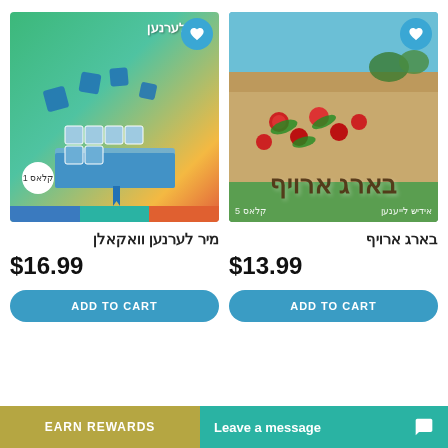[Figure (photo): Book cover for 'מיר לערנען וואקאלן' - Hebrew/Yiddish learning book with puzzle pieces and blue book imagery, class 1 badge, colorful bottom stripe]
[Figure (photo): Book cover for 'בארג ארויף' - Hebrew/Yiddish book with macaw parrots on a cliff face background, class 5 label]
מיר לערנען וואקאלן
$16.99
ADD TO CART
בארג ארויף
$13.99
ADD TO CART
EARN REWARDS
Leave a message